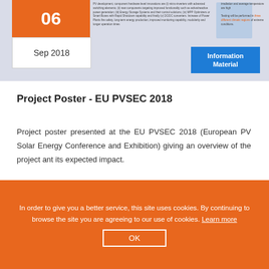[Figure (screenshot): Top preview banner showing a document thumbnail with orange date badge showing 06 Sep 2018, a blue Information Material button, and small preview text]
Project Poster - EU PVSEC 2018
Project poster presented at the EU PVSEC 2018 (European PV Solar Energy Conference and Exhibition) giving an overview of the project ant its expected impact.
Download
In order to give you a better service, this site uses cookies. By continuing to browse the site you are agreeing to our use of cookies. Learn more OK